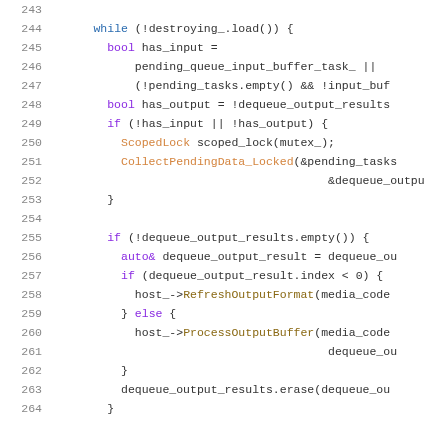[Figure (screenshot): Source code listing lines 243-264, C++ code showing a while loop with input/output handling, ScopedLock, CollectPendingData_Locked, dequeue_output_results processing with RefreshOutputFormat and ProcessOutputBuffer calls.]